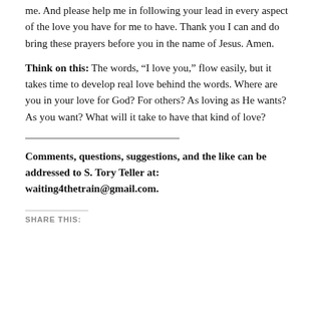me.  And please help me in following your lead in every aspect of the love you have for me to have.  Thank you I can and do bring these prayers before you in the name of Jesus.  Amen.
Think on this:  The words, “I love you,” flow easily, but it takes time to develop real love behind the words.  Where are you in your love for God?  For others?  As loving as He wants?  As you want?  What will it take to have that kind of love?
Comments, questions, suggestions, and the like can be addressed to S. Tory Teller at: waiting4thetrain@gmail.com.
SHARE THIS: